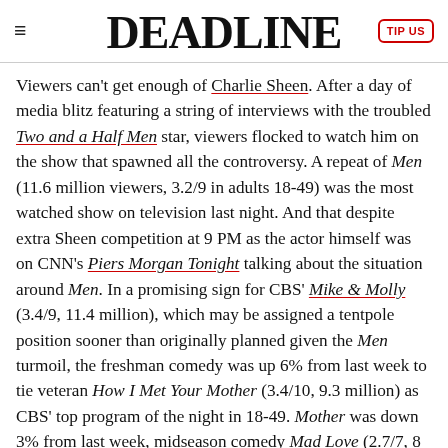DEADLINE
Viewers can't get enough of Charlie Sheen. After a day of media blitz featuring a string of interviews with the troubled Two and a Half Men star, viewers flocked to watch him on the show that spawned all the controversy. A repeat of Men (11.6 million viewers, 3.2/9 in adults 18-49) was the most watched show on television last night. And that despite extra Sheen competition at 9 PM as the actor himself was on CNN's Piers Morgan Tonight talking about the situation around Men. In a promising sign for CBS' Mike & Molly (3.4/9, 11.4 million), which may be assigned a tentpole position sooner than originally planned given the Men turmoil, the freshman comedy was up 6% from last week to tie veteran How I Met Your Mother (3.4/10, 9.3 million) as CBS' top program of the night in 18-49. Mother was down 3% from last week, midseason comedy Mad Love (2.7/7, 8 million) at 8:30 PM was down 4%. (CBS aired a Hawaii Five-0 rerun (1.8/5 at 10 PM)